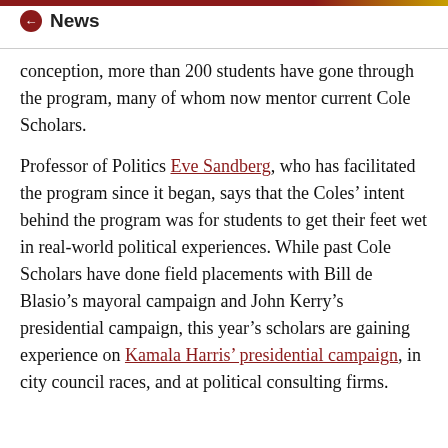News
conception, more than 200 students have gone through the program, many of whom now mentor current Cole Scholars.
Professor of Politics Eve Sandberg, who has facilitated the program since it began, says that the Coles’ intent behind the program was for students to get their feet wet in real-world political experiences. While past Cole Scholars have done field placements with Bill de Blasio’s mayoral campaign and John Kerry’s presidential campaign, this year’s scholars are gaining experience on Kamala Harris’ presidential campaign, in city council races, and at political consulting firms.